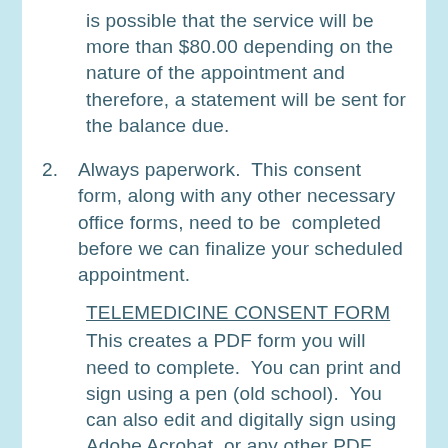is possible that the service will be more than $80.00 depending on the nature of the appointment and therefore, a statement will be sent for the balance due.
2.  Always paperwork.  This consent form, along with any other necessary office forms, need to be completed before we can finalize your scheduled appointment.
TELEMEDICINE CONSENT FORM
This creates a PDF form you will need to complete.  You can print and sign using a pen (old school).  You can also edit and digitally sign using Adobe Acrobat, or any other PDF